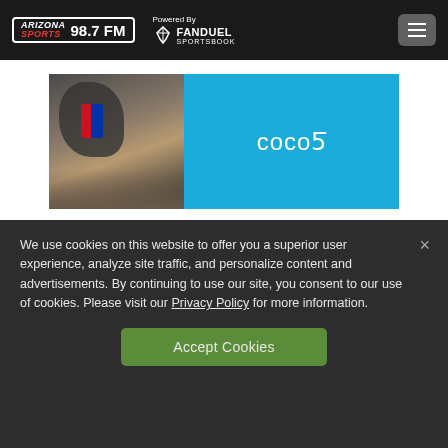Arizona Sports 98.7 FM — Powered By FanDuel Sportsbook
[Figure (photo): Photo of a person's hands holding a red Pepsi can, next to a Coco5 advertisement on a blue background with the Coco5 logo in white]
We use cookies on this website to offer you a superior user experience, analyze site traffic, and personalize content and advertisements. By continuing to use our site, you consent to our use of cookies. Please visit our Privacy Policy for more information.
Accept Cookies